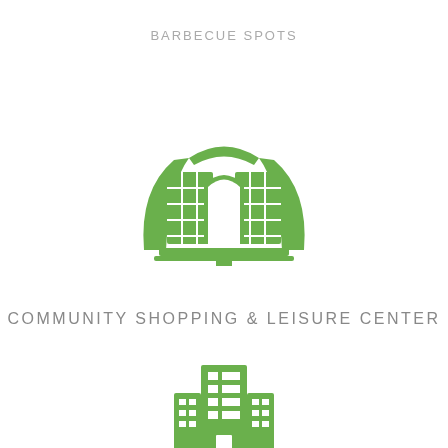BARBECUE SPOTS
[Figure (illustration): Green icon of a community shopping and leisure center building with arched windows and grid facade panels]
COMMUNITY SHOPPING & LEISURE CENTER
[Figure (illustration): Green icon of a multi-story office or commercial building with windows]